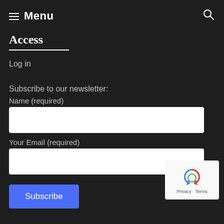Menu
Access
Log in
Subscribe to our newsletter:
Name (required)
Your Email (required)
Subscribe
[Figure (logo): reCAPTCHA logo with Privacy and Terms text]